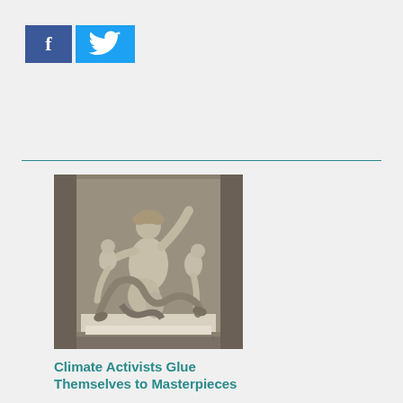[Figure (other): Facebook and Twitter social share buttons side by side. Facebook button is dark blue with white 'f', Twitter button is light blue with white bird logo.]
[Figure (photo): Photograph of the Laocoön and His Sons marble sculpture, showing a man and two boys being attacked by serpents, displayed in a museum niche with grey stone background.]
Climate Activists Glue Themselves to Masterpieces